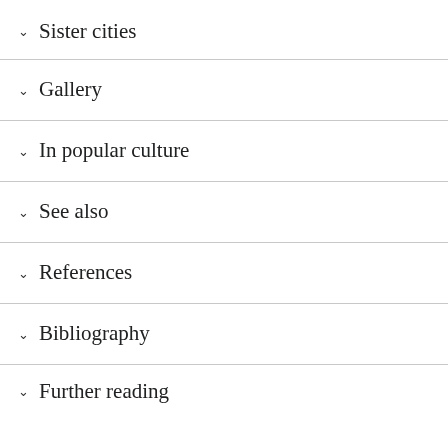Sister cities
Gallery
In popular culture
See also
References
Bibliography
Further reading